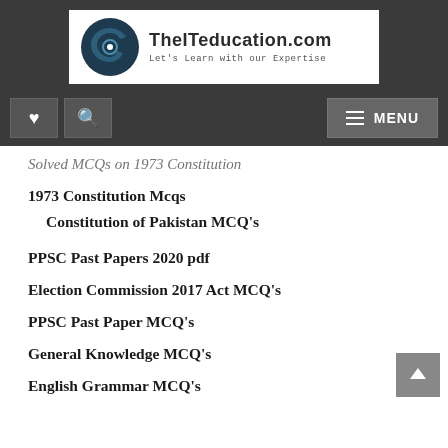[Figure (logo): TheITeducation.com logo with dark blue circular icon and text 'TheITeducation.com' and subtitle 'Let's Learn with our Expertise']
Navigation bar with heart icon, search icon, and MENU button
Solved MCQs on 1973 Constitution
1973 Constitution Mcqs
Constitution of Pakistan MCQ's
PPSC Past Papers 2020 pdf
Election Commission 2017 Act MCQ's
PPSC Past Paper MCQ's
General Knowledge MCQ's
English Grammar MCQ's